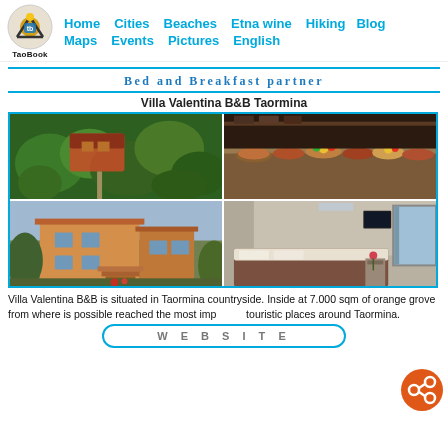Home  Cities  Beaches  Etna wine  Hiking  Blog  Maps  Events  Pictures  English
Bed and Breakfast partner
Villa Valentina B&B Taormina
[Figure (photo): Four photos of Villa Valentina B&B Taormina: aerial view of villa in lush green forest, breakfast buffet with fruits and pastries, villa exterior with orange/yellow walls and stairs, hotel room interior]
Villa Valentina B&B is situated in Taormina countryside. Inside at 7.000 sqm of orange grove from where is possible reached the most important touristic places around Taormina.
WEBSITE